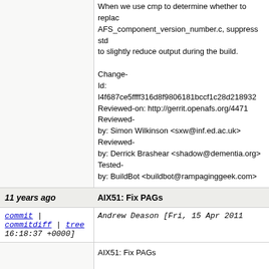When we use cmp to determine whether to replace AFS_component_version_number.c, suppress std to slightly reduce output during the build.

Change-Id: I4f687ce5ffff316d8f9806181bccf1c28d218932
Reviewed-on: http://gerrit.openafs.org/4471
Reviewed-by: Simon Wilkinson <sxw@inf.ed.ac.uk>
Reviewed-by: Derrick Brashear <shadow@dementia.org>
Tested-by: BuildBot <buildbot@rampaginggeek.com>
11 years ago | AIX51: Fix PAGs
commit | commitdiff | tree Andrew Deason [Fri, 15 Apr 2011 16:18:37 +0000]
AIX51: Fix PAGs

On AIX 5.1 and later, we set a process' PAG by using some mechanism (and not by group ids), but we were detecting what PAG a process was in by the group list. Instead use the P

This effectively reverts 277c37f48c8126ba9cb986... it puts the kcred_getpag call in a different place that makes sense in the current PAG code organization.